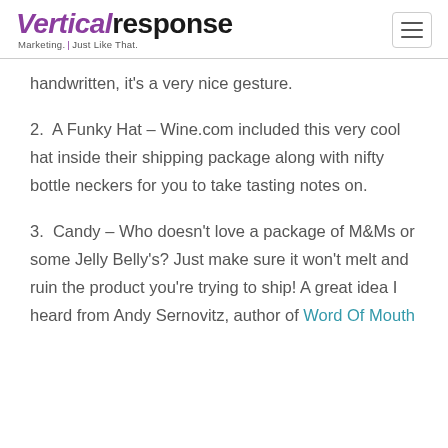VerticalResponse — Marketing. Just Like That.
handwritten, it's a very nice gesture.
2. A Funky Hat – Wine.com included this very cool hat inside their shipping package along with nifty bottle neckers for you to take tasting notes on.
3. Candy – Who doesn't love a package of M&Ms or some Jelly Belly's? Just make sure it won't melt and ruin the product you're trying to ship! A great idea I heard from Andy Sernovitz, author of Word Of Mouth